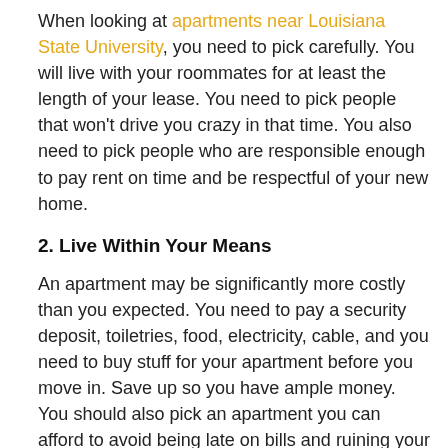When looking at apartments near Louisiana State University, you need to pick carefully. You will live with your roommates for at least the length of your lease. You need to pick people that won't drive you crazy in that time. You also need to pick people who are responsible enough to pay rent on time and be respectful of your new home.
2. Live Within Your Means
An apartment may be significantly more costly than you expected. You need to pay a security deposit, toiletries, food, electricity, cable, and you need to buy stuff for your apartment before you move in. Save up so you have ample money. You should also pick an apartment you can afford to avoid being late on bills and ruining your credit.
3. Take Pictures When You Move In
You will be charged for any damage that occurs while you live in the apartment. To ensure you don't get charged for